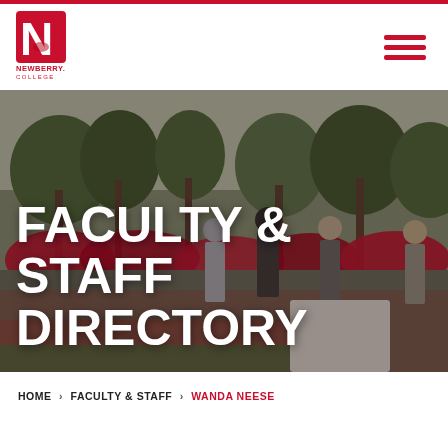[Figure (logo): Newberry College logo - red N with wolf and text NEWBERRY COLLEGE]
[Figure (photo): Campus outdoor photo showing students conversing near red flowering bushes and trees; serves as hero banner background]
FACULTY & STAFF DIRECTORY
HOME › FACULTY & STAFF › WANDA NEESE